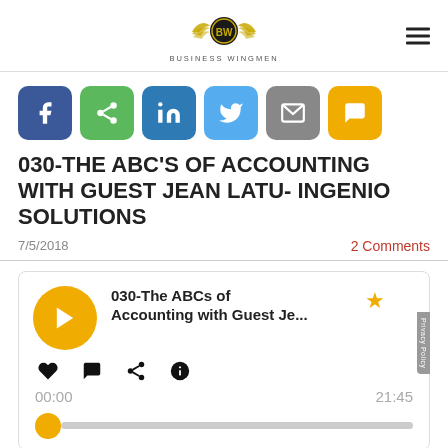[Figure (logo): Business Wingmen logo: circular emblem with wings and 'BW' text, gold and black, with 'BUSINESS WINGMEN' text below]
[Figure (infographic): Row of six social share buttons: Facebook (blue), Share (green), LinkedIn (blue), Twitter (light blue), Email (grey), SMS (yellow/gold)]
030-THE ABC'S OF ACCOUNTING WITH GUEST JEAN LATU- INGENIO SOLUTIONS
7/5/2018
2 Comments
[Figure (screenshot): Podcast player widget showing episode '030-The ABCs of Accounting with Guest Je...' with play button, heart/comment/share/info icons, time display 00:00 / 21:45, and progress bar]